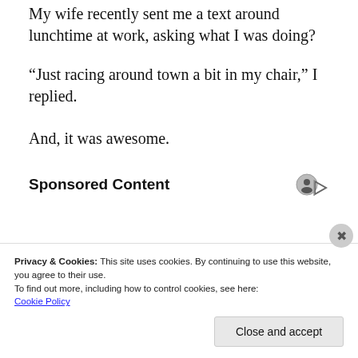My wife recently sent me a text around lunchtime at work, asking what I was doing?
“Just racing around town a bit in my chair,” I replied.
And, it was awesome.
Sponsored Content
[Figure (screenshot): Dark advertisement image area with a bordered box and cursor/arrow icon]
Privacy & Cookies: This site uses cookies. By continuing to use this website, you agree to their use.
To find out more, including how to control cookies, see here: Cookie Policy
Close and accept